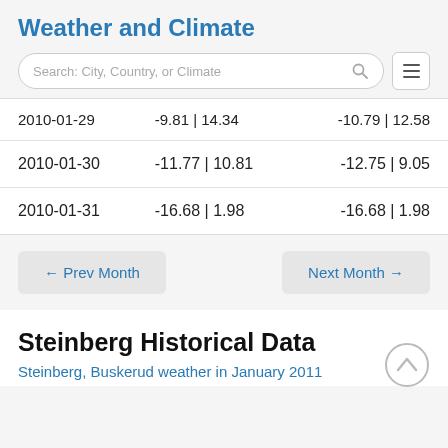Weather and Climate
| Date | Col2 | Col3 |
| --- | --- | --- |
| 2010-01-29 | -9.81 | 14.34 | -10.79 | 12.58 |
| 2010-01-30 | -11.77 | 10.81 | -12.75 | 9.05 |
| 2010-01-31 | -16.68 | 1.98 | -16.68 | 1.98 |
← Prev Month
Next Month →
Steinberg Historical Data
Steinberg, Buskerud weather in January 2011